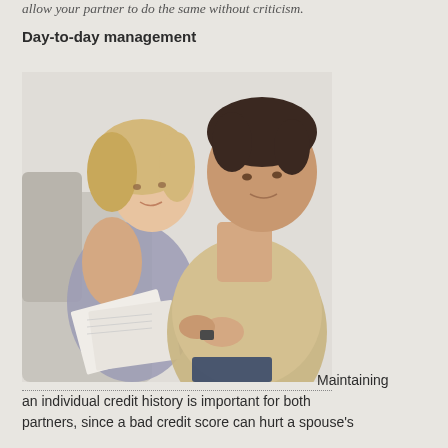allow your partner to do the same without criticism.
Day-to-day management
[Figure (photo): A couple sitting on a couch reviewing financial documents together. The woman is blonde and wearing a purple top; the man has dark hair and is wearing a beige shirt. They are both looking down at papers.]
Maintaining an individual credit history is important for both partners, since a bad credit score can hurt a spouse's